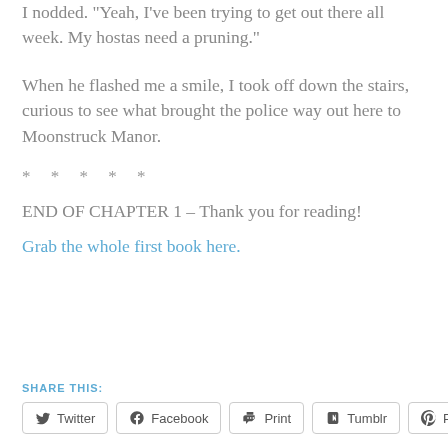I nodded. "Yeah, I've been trying to get out there all week. My hostas need a pruning."
When he flashed me a smile, I took off down the stairs, curious to see what brought the police way out here to Moonstruck Manor.
* * * * *
END OF CHAPTER 1 – Thank you for reading!
Grab the whole first book here.
SHARE THIS:
Twitter  Facebook  Print  Tumblr  Pinterest